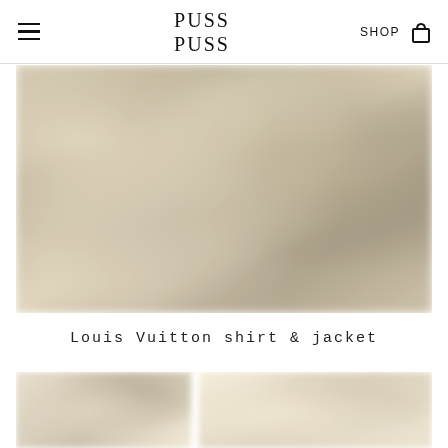PUSS PUSS — SHOP
[Figure (photo): Blurred close-up photo of fashion accessories or clothing items in muted tan/brown tones, likely Louis Vuitton items on a textured surface]
Louis Vuitton shirt & jacket
[Figure (photo): Partial blurred thumbnail images of fashion editorial photos, showing clothing items in light tones]